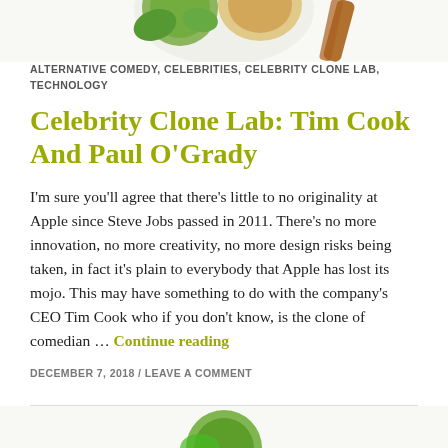[Figure (illustration): Partial illustration visible at top of page, colorful cartoon-style image cropped at top]
ALTERNATIVE COMEDY, CELEBRITIES, CELEBRITY CLONE LAB, TECHNOLOGY
Celebrity Clone Lab: Tim Cook And Paul O'Grady
I'm sure you'll agree that there's little to no originality at Apple since Steve Jobs passed in 2011. There's no more innovation, no more creativity, no more design risks being taken, in fact it's plain to everybody that Apple has lost its mojo. This may have something to do with the company's CEO Tim Cook who if you don't know, is the clone of comedian … Continue reading
DECEMBER 7, 2018 / LEAVE A COMMENT
[Figure (illustration): Partial illustration visible at bottom of page, colorful cartoon-style image cropped at bottom]